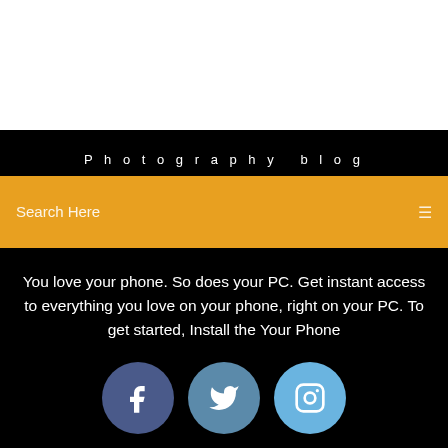Photography blog
Search Here
You love your phone. So does your PC. Get instant access to everything you love on your phone, right on your PC. To get started, Install the Your Phone
[Figure (infographic): Three social media icon circles: Facebook (dark blue), Twitter (medium blue), Instagram (light blue)]
Comment Supprimer Une Application Sur Ipad Apple